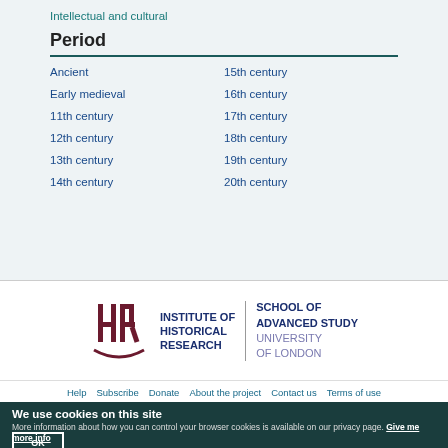Intellectual and cultural
Period
Ancient
15th century
Early medieval
16th century
11th century
17th century
12th century
18th century
13th century
19th century
14th century
20th century
[Figure (logo): Institute of Historical Research / School of Advanced Study University of London logo]
Help  Subscribe  Donate  About the project  Contact us  Terms of use
We use cookies on this site
More information about how you can control your browser cookies is available on our privacy page. Give me more info
OK